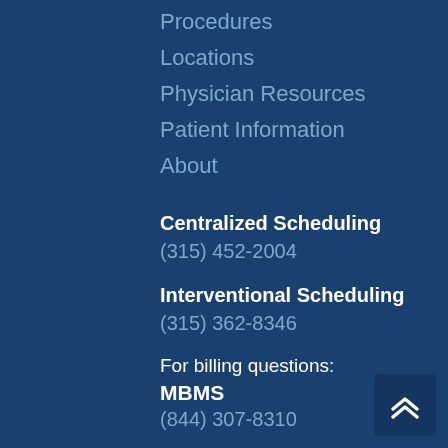Procedures
Locations
Physician Resources
Patient Information
About
Centralized Scheduling
(315) 452-2004
Interventional Scheduling
(315) 362-8346
For billing questions:
MBMS
(844) 307-8310
[Figure (other): Back to top button with double chevron arrow icon]